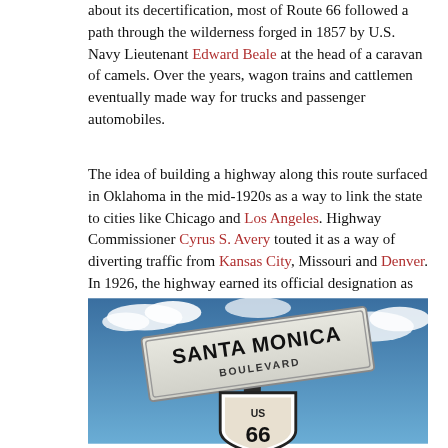about its decertification, most of Route 66 followed a path through the wilderness forged in 1857 by U.S. Navy Lieutenant Edward Beale at the head of a caravan of camels. Over the years, wagon trains and cattlemen eventually made way for trucks and passenger automobiles.
The idea of building a highway along this route surfaced in Oklahoma in the mid-1920s as a way to link the state to cities like Chicago and Los Angeles. Highway Commissioner Cyrus S. Avery touted it as a way of diverting traffic from Kansas City, Missouri and Denver. In 1926, the highway earned its official designation as Route 66. The diagonal course of Route 66 linked hundreds of mostly rural communities to the cities along its route, allowing farmers to more easily transport grain and other types of produce for distribution. The highway was also a lifeline for the long-distance trucking industry, which by 1930 was competing with the railroad for dominance in the shipping market.
[Figure (photo): Photo of a Santa Monica Route 66 road sign against a blue sky with clouds. The sign shows 'SANTA MONICA' text and a Route 66 shield marker viewed from below at an angle.]